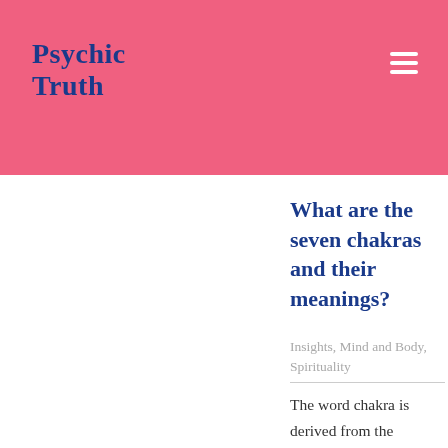Psychic Truth
What are the seven chakras and their meanings?
Insights, Mind and Body, Spirituality
The word chakra is derived from the Sanskrit word meaning wheel, circle or disc. Chakras appear as a wheel-like spinning energy vortex. In yoga,